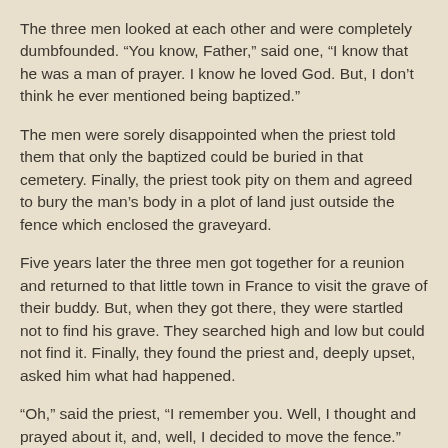The three men looked at each other and were completely dumbfounded. “You know, Father,” said one, “I know that he was a man of prayer. I know he loved God. But, I don’t think he ever mentioned being baptized.”
The men were sorely disappointed when the priest told them that only the baptized could be buried in that cemetery. Finally, the priest took pity on them and agreed to bury the man’s body in a plot of land just outside the fence which enclosed the graveyard.
Five years later the three men got together for a reunion and returned to that little town in France to visit the grave of their buddy. But, when they got there, they were startled not to find his grave. They searched high and low but could not find it. Finally, they found the priest and, deeply upset, asked him what had happened.
“Oh,” said the priest, “I remember you. Well, I thought and prayed about it, and, well, I decided to move the fence.”